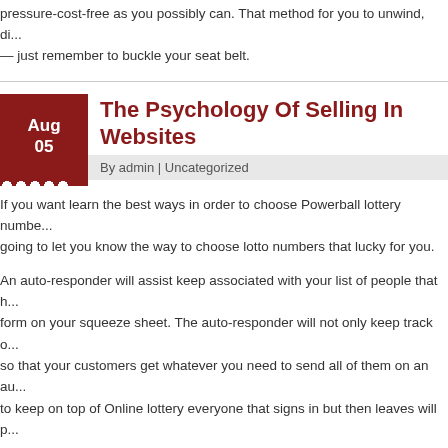pressure-cost-free as you possibly can. That method for you to unwind, di... — just remember to buckle your seat belt.
The Psychology Of Selling In Websites
By admin | Uncategorized
If you want learn the best ways in order to choose Powerball lottery numbers, going to let you know the way to choose lotto numbers that lucky for you.
An auto-responder will assist keep associated with your list of people that have form on your squeeze sheet. The auto-responder will not only keep track of so that your customers get whatever you need to send all of them on an au to keep on top of Online lottery everyone that signs in but then leaves will p
Yes, the balls end up looking randomly but by implementing a strategy, one on the least 50%. You just need to choose your numbers logically may will the lottery like the time your day time job. Making use of a reliable strategy, $500 full week. It is nowhere close for the 20 million dollars of a real mega stream money in your bank account!
Should you seek out a "lucky" lotto shop to get the lottery airplane tickets?